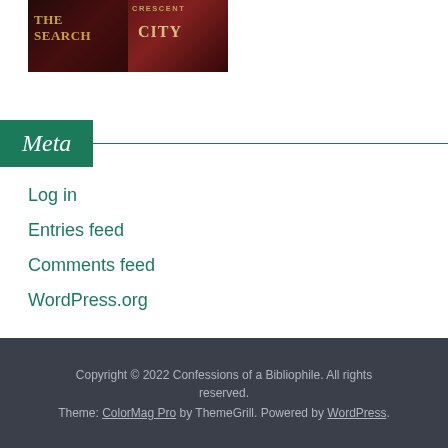[Figure (illustration): Two book covers side by side: 'The Search' with dark red background and gold text, and 'Crescent City' with dark red/orange tones and gold lettering.]
Meta
Log in
Entries feed
Comments feed
WordPress.org
Copyright © 2022 Confessions of a Bibliophile. All rights reserved. Theme: ColorMag Pro by ThemeGrill. Powered by WordPress.